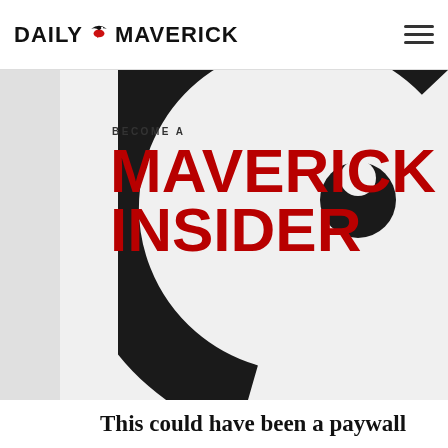DAILY MAVERICK
[Figure (logo): Maverick Insider promotional banner with large red MAVERICK INSIDER text and abstract swirl graphic on white/grey background]
This could have been a paywall
On another site this would have been a paywall. Maverick Insider keeps our content free for all.
Become an Insider
Already an Insider? Click here to log in.